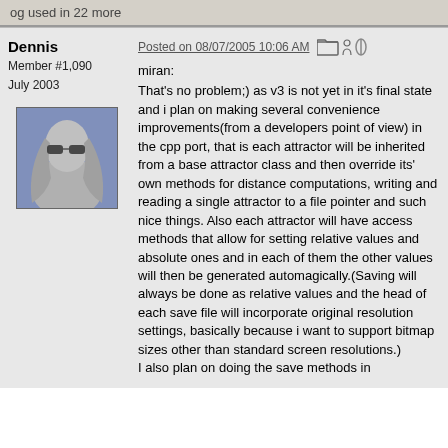og used in 22 more
Dennis
Member #1,090
July 2003
[Figure (illustration): Avatar of user Dennis: a grayscale figure with long hair wearing sunglasses on a blue/purple background]
Posted on 08/07/2005 10:06 AM
miran:
That's no problem;) as v3 is not yet in it's final state and i plan on making several convenience improvements(from a developers point of view) in the cpp port, that is each attractor will be inherited from a base attractor class and then override its' own methods for distance computations, writing and reading a single attractor to a file pointer and such nice things. Also each attractor will have access methods that allow for setting relative values and absolute ones and in each of them the other values will then be generated automagically.(Saving will always be done as relative values and the head of each save file will incorporate original resolution settings, basically because i want to support bitmap sizes other than standard screen resolutions.)
I also plan on doing the save methods in